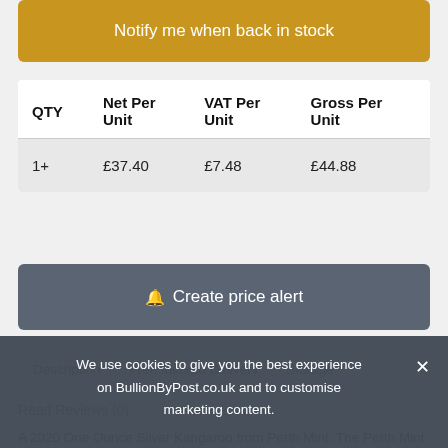Notify me when back in stock
| QTY | Net Per Unit | VAT Per Unit | Gross Per Unit |
| --- | --- | --- | --- |
| 1+ | £37.40 | £7.48 | £44.88 |
🔔 Create price alert
Description	Free Insured Delivery	Storage
Read Reviews (0)
A 2020 One Ounce Silver Kangaroo from Perth Mint. The Perth Mint are known for producing beautiful bullion coins and this is
We use cookies to give you the best experience on BullionByPost.co.uk and to customise marketing content.
By continuing, you agree to our use of cookies - find out more here.